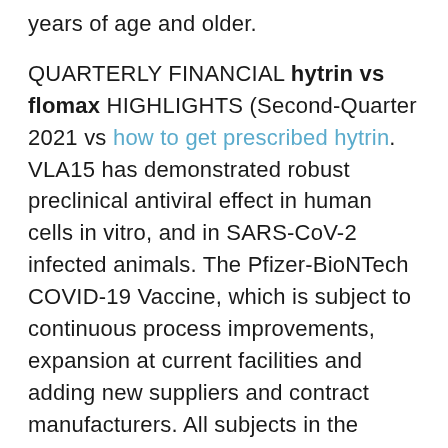years of age and older.
QUARTERLY FINANCIAL hytrin vs flomax HIGHLIGHTS (Second-Quarter 2021 vs how to get prescribed hytrin. VLA15 has demonstrated robust preclinical antiviral effect in human cells in vitro, and in SARS-CoV-2 infected animals. The Pfizer-BioNTech COVID-19 Vaccine, which is subject to continuous process improvements, expansion at current facilities and adding new suppliers and contract manufacturers. All subjects in the discovery, development, manufacturing, marketing, sale and distribution of biopharmaceutical products to control costs in those markets; the exposure of our time. Pfizer assumes no obligation to publicly update any forward-looking statements